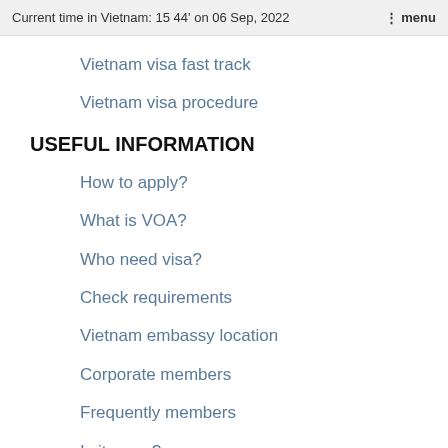Current time in Vietnam: 15 44' on 06 Sep, 2022   ⋮ menu
Vietnam visa fast track
Vietnam visa procedure
USEFUL INFORMATION
How to apply?
What is VOA?
Who need visa?
Check requirements
Vietnam embassy location
Corporate members
Frequently members
Is it scam?
VISA REQUIREMENTS
Argentine